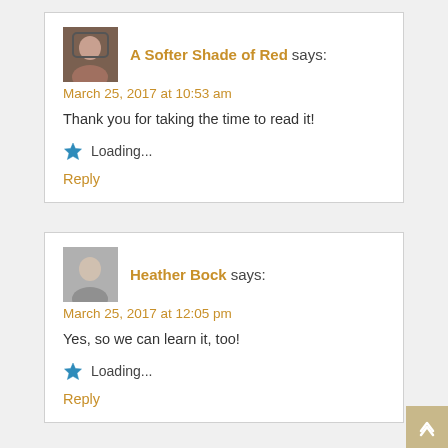A Softer Shade of Red says: March 25, 2017 at 10:53 am
Thank you for taking the time to read it!
Loading...
Reply
Heather Bock says: March 25, 2017 at 12:05 pm
Yes, so we can learn it, too!
Loading...
Reply